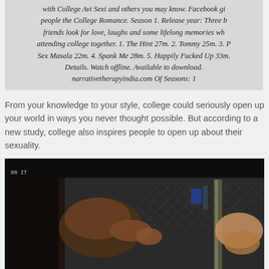with College Avi Sexi and others you may know. Facebook gi people the College Romance. Season 1. Release year: Three b friends look for love, laughs and some lifelong memories wh attending college together. 1. The Hint 27m. 2. Tommy 25m. 3. P Sex Masala 22m. 4. Spank Me 28m. 5. Happily Fucked Up 33m. Details. Watch offline. Available to download. narrativetherapyindia.com Of Seasons: 1
From your knowledge to your style, college could seriously open up your world in ways you never thought possible. But according to a new study, college also inspires people to open up about their sexuality.
[Figure (photo): Dark photograph showing two people near a chain-link fence, one person appears to be holding or touching another person's neck/back area. Dark cinematic lighting with a dark bar across the top.]